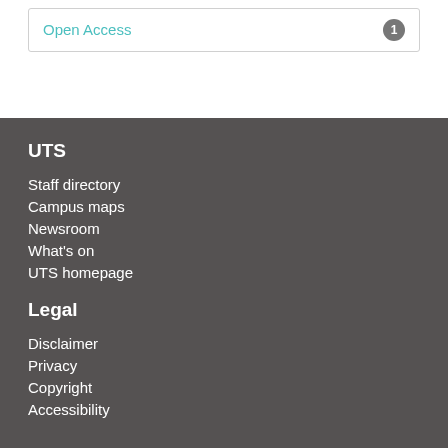Open Access 1
UTS
Staff directory
Campus maps
Newsroom
What's on
UTS homepage
Legal
Disclaimer
Privacy
Copyright
Accessibility